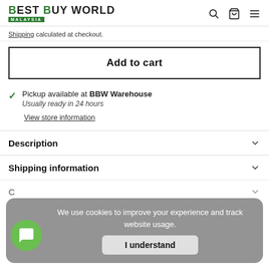Best Buy World Malaysia
Shipping calculated at checkout.
Add to cart
Pickup available at BBW Warehouse
Usually ready in 24 hours
View store information
Description
Shipping information
We use cookies to improve your experience and track website usage.
I understand